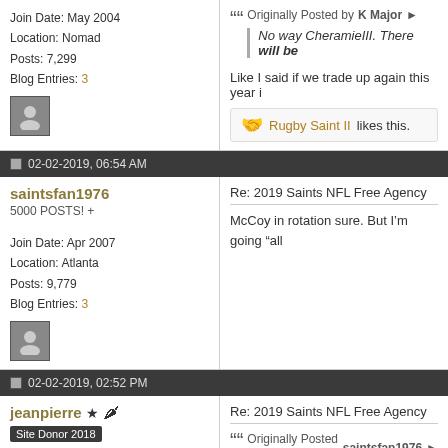Join Date: May 2004
Location: Nomad
Posts: 7,299
Blog Entries: 3
Originally Posted by K Major
No way CheramieIII. There will be
Like I said if we trade up again this year i
Rugby Saint II likes this.
02-02-2019, 06:54 AM
saintsfan1976
5000 POSTS! +
Join Date: Apr 2007
Location: Atlanta
Posts: 9,779
Blog Entries: 3
Re: 2019 Saints NFL Free Agency
McCoy in rotation sure. But I’m going “all
02-02-2019, 02:52 PM
jeanpierre
Site Donor 2018
Join Date: Mar 2008
Location: Thibodaux
Posts: 43,543
Blog Entries: 39
Re: 2019 Saints NFL Free Agency
Originally Posted by saintsfan1976
Ryan Tannehill?
Be foolish not to bring him in for a loo